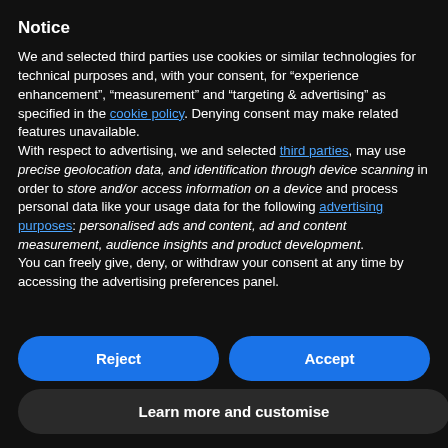Notice
We and selected third parties use cookies or similar technologies for technical purposes and, with your consent, for “experience enhancement”, “measurement” and “targeting & advertising” as specified in the cookie policy. Denying consent may make related features unavailable.
With respect to advertising, we and selected third parties, may use precise geolocation data, and identification through device scanning in order to store and/or access information on a device and process personal data like your usage data for the following advertising purposes: personalised ads and content, ad and content measurement, audience insights and product development.
You can freely give, deny, or withdraw your consent at any time by accessing the advertising preferences panel.
Reject
Accept
Learn more and customise